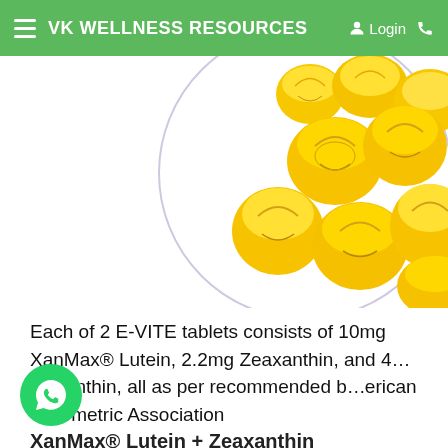VK WELLNESS RESOURCES   Login
[Figure (photo): Close-up photo of yellow corn kernels arranged on a white background with a circular violet/lavender outline border, cropped at the top of the image]
Each of 2 E-VITE tablets consists of 10mg XanMax® Lutein, 2.2mg Zeaxanthin, and 4...staxanthin, all as per recommended b...erican Optometric Association
XanMax® Lutein + Zeaxanthin